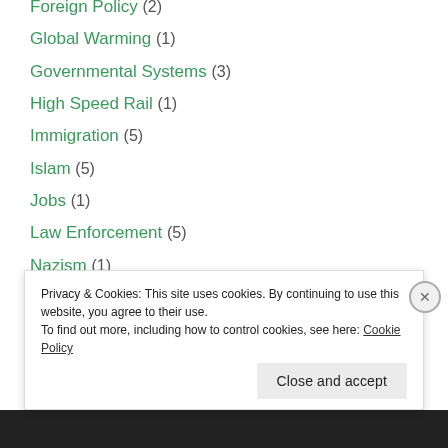Foreign Policy (2)
Global Warming (1)
Governmental Systems (3)
High Speed Rail (1)
Immigration (5)
Islam (5)
Jobs (1)
Law Enforcement (5)
Nazism (1)
President Donald Trump (5)
Psychology & Medicine (4)
Racism (1)
Republicans in America (2)
Privacy & Cookies: This site uses cookies. By continuing to use this website, you agree to their use.
To find out more, including how to control cookies, see here: Cookie Policy
Close and accept